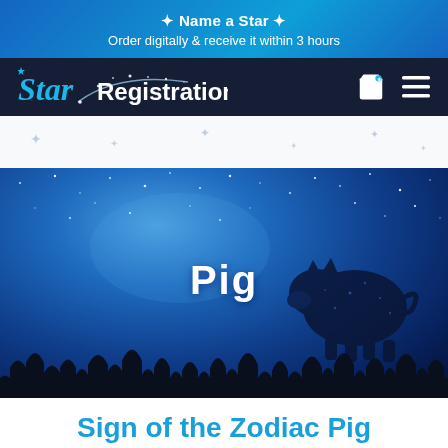✦ Name a Star ✦
Order digitally & receive it within 3 hours
[Figure (logo): Star Registration logo with shooting star graphic, teal 'Star' text in italic and white 'Registration' text on dark navy background, with shopping cart and hamburger menu icons]
[Figure (photo): Hero image with a starry night sky background in shades of blue, centered text reading 'Pig' in white, a pig silhouette made of stars on the right, and a dark tree line silhouette at the bottom]
Sign of the Zodiac Pig